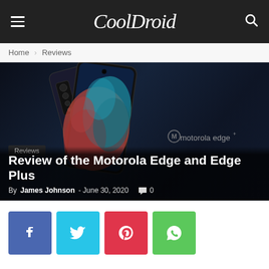CoolDroid
Home › Reviews
[Figure (photo): Two Motorola Edge+ smartphones shown against a dark blue-black background, with the Motorola Edge+ logo visible. One phone faces forward showing a colorful abstract wallpaper, the other shows the back with camera module.]
Reviews
Review of the Motorola Edge and Edge Plus
By James Johnson - June 30, 2020   💬 0
[Figure (infographic): Social media sharing buttons: Facebook (blue), Twitter (cyan), Pinterest (red), WhatsApp (green)]